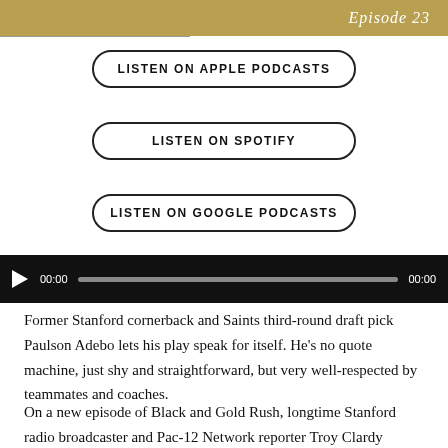Ray Chavez/Bay Area News Group | Episode 23
LISTEN ON APPLE PODCASTS
LISTEN ON SPOTIFY
LISTEN ON GOOGLE PODCASTS
[Figure (other): Audio player with play button, 00:00 timestamps and progress bar]
Former Stanford cornerback and Saints third-round draft pick Paulson Adebo lets his play speak for itself. He's no quote machine, just shy and straightforward, but very well-respected by teammates and coaches.
On a new episode of Black and Gold Rush, longtime Stanford radio broadcaster and Pac-12 Network reporter Troy Clardy takes a closer look at the rising star.